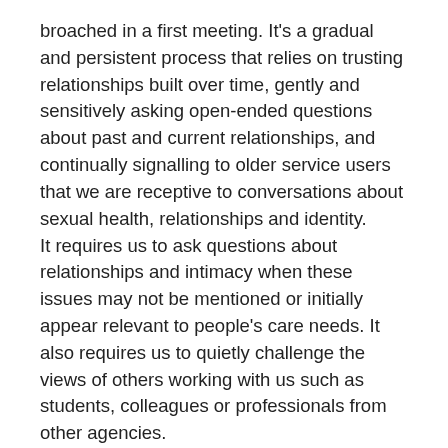broached in a first meeting. It's a gradual and persistent process that relies on trusting relationships built over time, gently and sensitively asking open-ended questions about past and current relationships, and continually signalling to older service users that we are receptive to conversations about sexual health, relationships and identity.
It requires us to ask questions about relationships and intimacy when these issues may not be mentioned or initially appear relevant to people's care needs. It also requires us to quietly challenge the views of others working with us such as students, colleagues or professionals from other agencies.
And for a lot of us it could mean taking time to reflect on and reconsider the ageist views and assumptions we may hang on to about sex, sexuality and ageing,